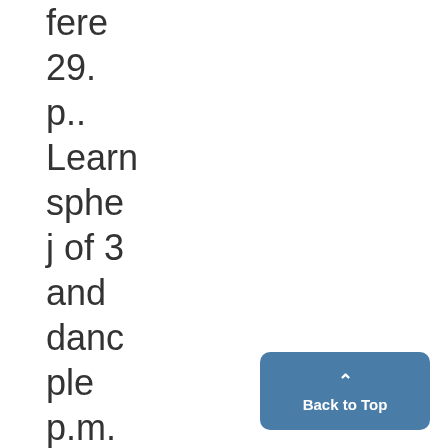fere
29.
p..
Learn
sphe
j of 3
and
danc
ple
p.m.
SUND
Tab
THE
buy
Back to Top